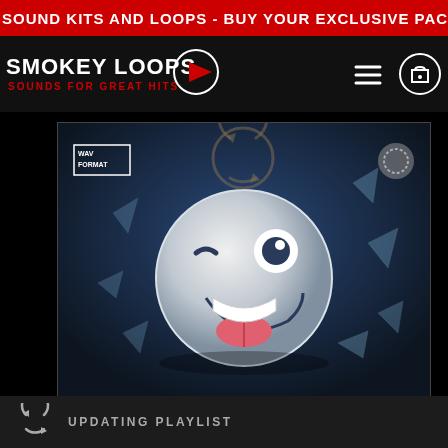SOUND KITS AND LOOPS - BUY YOUR EXCLUSIVE PACK AT A SPECIAL PR
[Figure (logo): Smokey Loops logo with text 'SMOKEY LOOPS' and 'SOUNDS FOR GREAT HITS' with a red play button icon]
[Figure (photo): Product cover art showing a 3D metallic winking emoji face shattering on a dark blue background, with WAV FORMAT badge in upper left]
UPDATING PLAYLIST